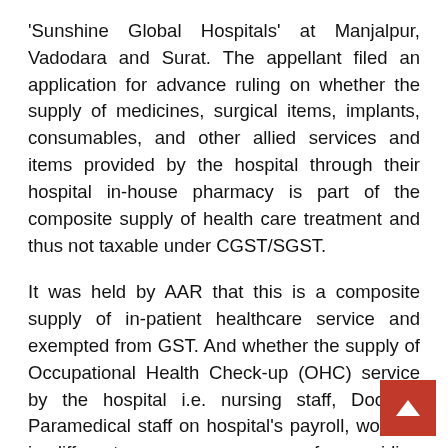'Sunshine Global Hospitals' at Manjalpur, Vadodara and Surat. The appellant filed an application for advance ruling on whether the supply of medicines, surgical items, implants, consumables, and other allied services and items provided by the hospital through their hospital in-house pharmacy is part of the composite supply of health care treatment and thus not taxable under CGST/SGST.
It was held by AAR that this is a composite supply of in-patient healthcare service and exempted from GST. And whether the supply of Occupational Health Check-up (OHC) service by the hospital i.e. nursing staff, Doctors, Paramedical staff on hospital's payroll, working in different corp... for providing health check-up service, ambulance...